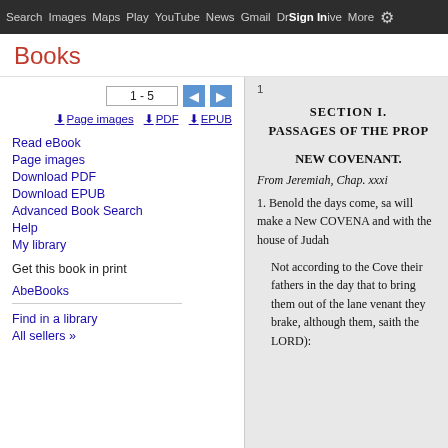Search  Images  Maps  Play  YouTube  News  Gmail  Drive  More  Sign In  ⚙
Books
Read eBook
Page images
Download PDF
Download EPUB
Advanced Book Search
Help
My library
Get this book in print
AbeBooks
Find in a library
All sellers »
1 - 5
Page images  ⬇ PDF  ⬇ EPUB
1
SECTION I.
PASSAGES OF THE PROP
NEW COVENANT.
From Jeremiah, Chap. xxxi
1. Benold the days come, sa will make a New COVENA and with the house of Judah
Not according to the Cove their fathers in the day that to bring them out of the lane venant they brake, although them, saith the LORD):